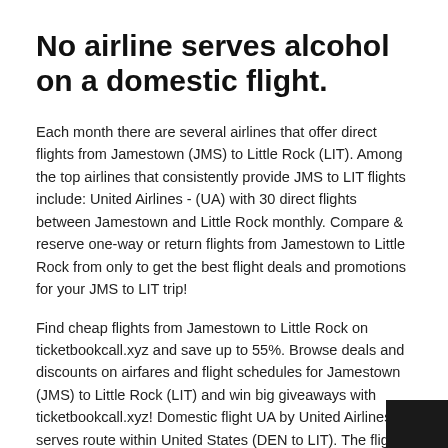No airline serves alcohol on a domestic flight.
Each month there are several airlines that offer direct flights from Jamestown (JMS) to Little Rock (LIT). Among the top airlines that consistently provide JMS to LIT flights include: United Airlines - (UA) with 30 direct flights between Jamestown and Little Rock monthly. Compare & reserve one-way or return flights from Jamestown to Little Rock from only to get the best flight deals and promotions for your JMS to LIT trip!
Find cheap flights from Jamestown to Little Rock on ticketbookcall.xyz and save up to 55%. Browse deals and discounts on airfares and flight schedules for Jamestown (JMS) to Little Rock (LIT) and win big giveaways with ticketbookcall.xyz! Domestic flight UA by United Airlines serves route within United States (DEN to LIT). The flight departs Denver on May 26 ( am) and arrives Little Rock, Little Rock Order flight ticket Jamesto